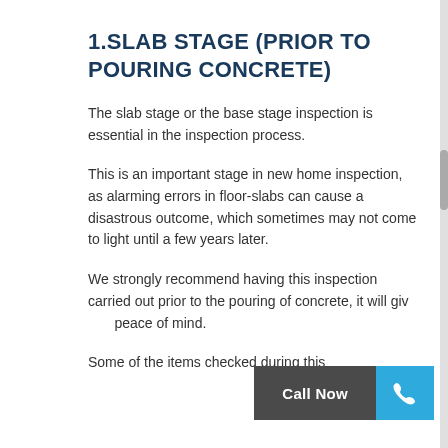1.SLAB STAGE (PRIOR TO POURING CONCRETE)
The slab stage or the base stage inspection is essential in the inspection process.
This is an important stage in new home inspection, as alarming errors in floor-slabs can cause a disastrous outcome, which sometimes may not come to light until a few years later.
We strongly recommend having this inspection carried out prior to the pouring of concrete, it will giv peace of mind.
Some of the items checked during this